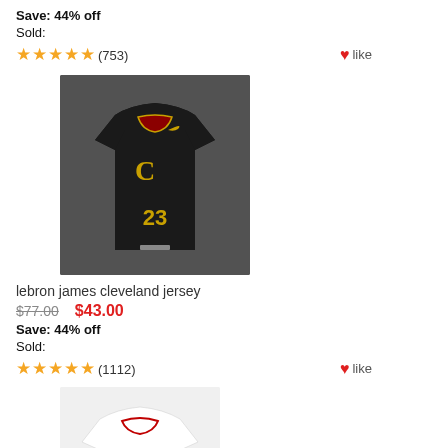Save: 44% off
Sold:
★★★★★ (753)  ❤like
[Figure (photo): Dark/black Cleveland Cavaliers Nike basketball jersey with number 23, displayed on a grey background]
lebron james cleveland jersey
$77.00  $43.00
Save: 44% off
Sold:
★★★★★ (1112)  ❤like
[Figure (photo): White Cleveland Cavaliers basketball jersey with number 23 and Cavaliers script, red and navy trim]